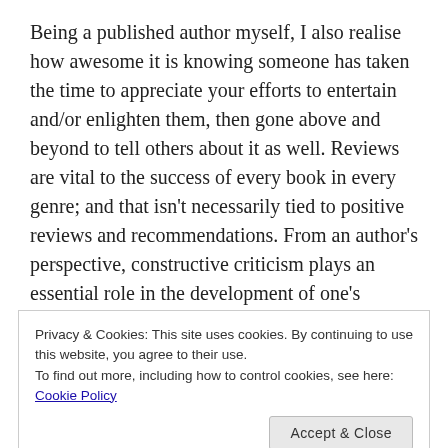Being a published author myself, I also realise how awesome it is knowing someone has taken the time to appreciate your efforts to entertain and/or enlighten them, then gone above and beyond to tell others about it as well. Reviews are vital to the success of every book in every genre; and that isn't necessarily tied to positive reviews and recommendations. From an author's perspective, constructive criticism plays an essential role in the development of one's writing, and ultimately, it becomes something every writer appreciates (even
Privacy & Cookies: This site uses cookies. By continuing to use this website, you agree to their use.
To find out more, including how to control cookies, see here: Cookie Policy
Accept & Close
amazing... and that maybe, one day, I'll get into